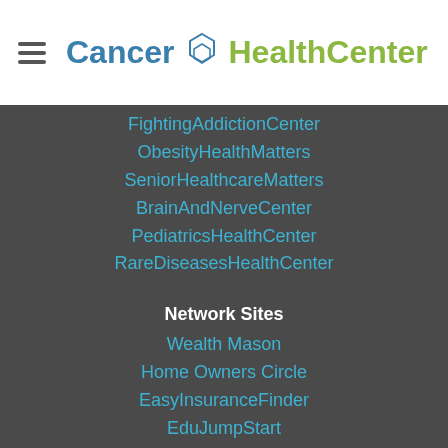Cancer HealthCenter
FightingAddictionCenter
ObesityHealthMatters
SeniorHealthcareMatters
BrainAndNerveCenter
PediatricsHealthCenter
RareDiseasesHealthCenter
Network Sites
Wealth Mason
Home Owners Circle
EasyInsuranceFinder
EduJumpStart
SaleSpider